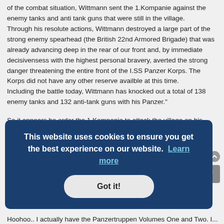of the combat situation, Wittmann sent the 1.Kompanie against the enemy tanks and anti tank guns that were still in the village.
Through his resolute actions, Wittmann destroyed a large part of the strong enemy spearhead (the British 22nd Armored Brigade) that was already advancing deep in the rear of our front and, by immediate decisivensess with the highest personal bravery, averted the strong danger threatening the entire front of the I.SS Panzer Korps. The Korps did not have any other reserve availble at this time.
Including the battle today, Wittmann has knocked out a total of 138 enemy tanks and 132 anti-tank guns with his Panzer."
So it appears he order the 1.Kompanie to attack the village on his return.
Hope this helps.
😁
[Figure (screenshot): Cookie consent banner with dark blue background reading 'This website uses cookies to ensure you get the best experience on our website. Learn more' with a 'Got it!' button below.]
Hoohoo.. I actually have the Panzertruppen Volumes One and Two. I...